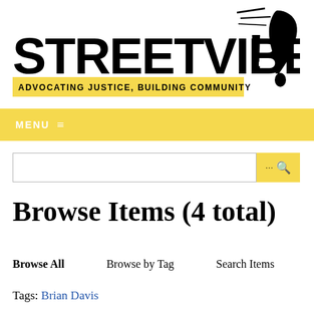[Figure (logo): StreetVibes! logo with large bold black text, face/exclamation mark graphic on right, and yellow tagline bar reading ADVOCATING JUSTICE, BUILDING COMMUNITY]
MENU ≡
Browse Items (4 total)
Browse All   Browse by Tag   Search Items
Tags: Brian Davis